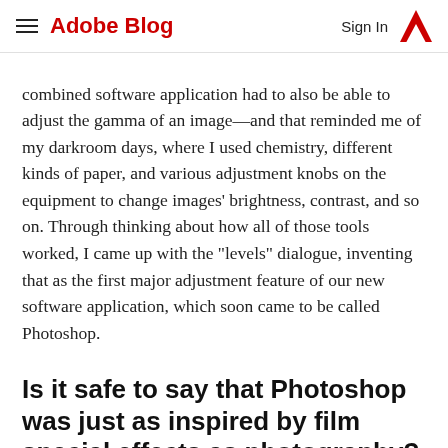Adobe Blog | Sign In
combined software application had to also be able to adjust the gamma of an image—and that reminded me of my darkroom days, where I used chemistry, different kinds of paper, and various adjustment knobs on the equipment to change images' brightness, contrast, and so on. Through thinking about how all of those tools worked, I came up with the "levels" dialogue, inventing that as the first major adjustment feature of our new software application, which soon came to be called Photoshop.
Is it safe to say that Photoshop was just as inspired by film special effects as photography?